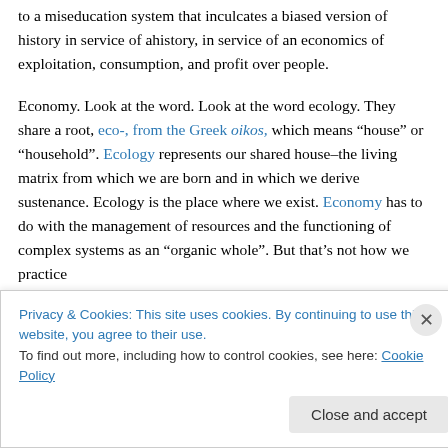to a miseducation system that inculcates a biased version of history in service of ahistory, in service of an economics of exploitation, consumption, and profit over people.

Economy. Look at the word. Look at the word ecology. They share a root, eco-, from the Greek oikos, which means “house” or “household”. Ecology represents our shared house–the living matrix from which we are born and in which we derive sustenance. Ecology is the place where we exist. Economy has to do with the management of resources and the functioning of complex systems as an “organic whole”. But that’s not how we practice
Privacy & Cookies: This site uses cookies. By continuing to use this website, you agree to their use.
To find out more, including how to control cookies, see here: Cookie Policy